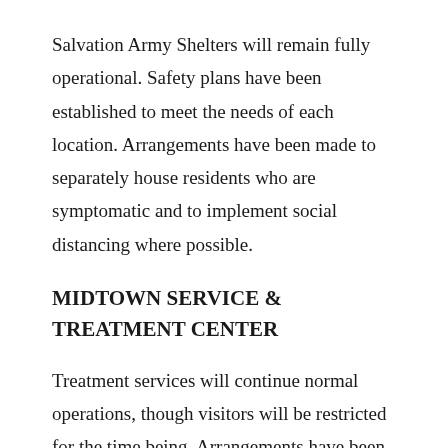Salvation Army Shelters will remain fully operational. Safety plans have been established to meet the needs of each location. Arrangements have been made to separately house residents who are symptomatic and to implement social distancing where possible.
MIDTOWN SERVICE & TREATMENT CENTER
Treatment services will continue normal operations, though visitors will be restricted for the time being. Arrangements have been made to separately house